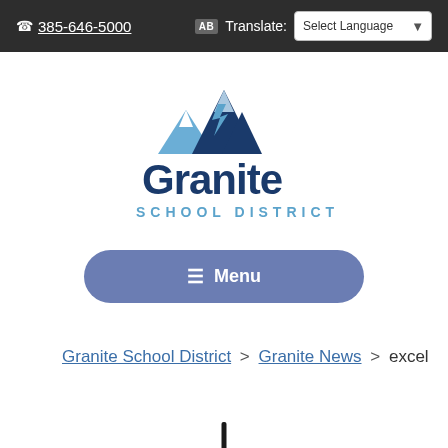📞 385-646-5000  AB Translate: Select Language
[Figure (logo): Granite School District logo with mountain peaks above the word 'Granite' in dark navy bold text and 'SCHOOL DISTRICT' in lighter blue spaced capitals below]
≡ Menu
Granite School District > Granite News > excel